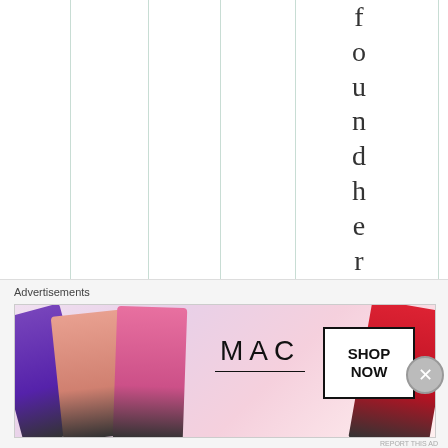[Figure (other): A page layout showing multiple vertical column lines on a white background with vertically stacked letters spelling 'foundherbro th' running down the right side of the page, partially visible.]
Advertisements
[Figure (photo): MAC cosmetics advertisement banner showing colorful lipsticks (purple, peach, pink, red) on the left and right, MAC logo in the center, and a SHOP NOW button in a black-bordered box.]